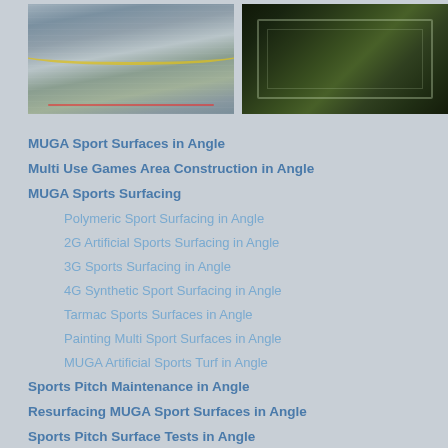[Figure (photo): Aerial view of a multi-use games area with coloured court markings on grey tarmac surface, showing red, white and yellow lines]
[Figure (photo): Aerial night/evening view of a green artificial grass sports pitch with white line markings illuminated]
MUGA Sport Surfaces in Angle
Multi Use Games Area Construction in Angle
MUGA Sports Surfacing
Polymeric Sport Surfacing in Angle
2G Artificial Sports Surfacing in Angle
3G Sports Surfacing in Angle
4G Synthetic Sport Surfacing in Angle
Tarmac Sports Surfaces in Angle
Painting Multi Sport Surfaces in Angle
MUGA Artificial Sports Turf in Angle
Sports Pitch Maintenance in Angle
Resurfacing MUGA Sport Surfaces in Angle
Sports Pitch Surface Tests in Angle
Created by © Multi Use Games Area